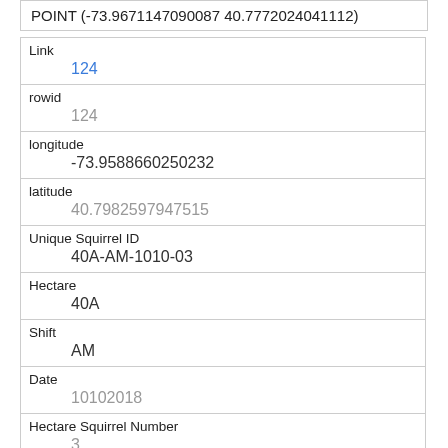POINT (-73.9671147090087 40.7772024041112)
| Link | 124 |
| rowid | 124 |
| longitude | -73.9588660250232 |
| latitude | 40.7982597947515 |
| Unique Squirrel ID | 40A-AM-1010-03 |
| Hectare | 40A |
| Shift | AM |
| Date | 10102018 |
| Hectare Squirrel Number | 3 |
| Age |  |